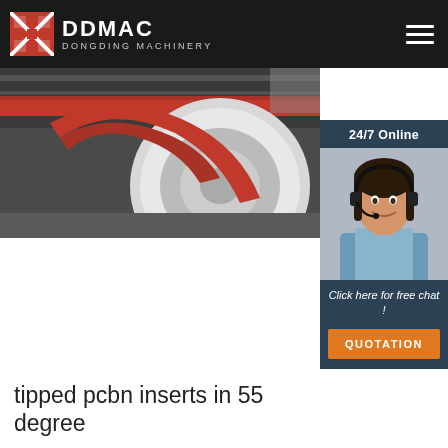DDMAC DONGDING MACHINERY
[Figure (photo): Industrial machinery with large red circular components inside a factory/warehouse setting, banner image at top of page]
[Figure (photo): 24/7 Online chat widget sidebar showing a woman wearing a headset with text 'Click here for free chat!' and an orange QUOTATION button]
tipped pcbn inserts in 55 degree